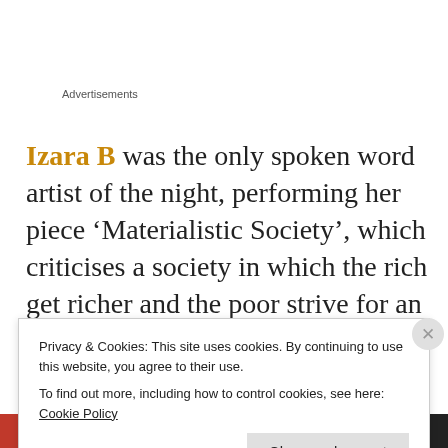Advertisements
Izara B was the only spoken word artist of the night, performing her piece ‘Materialistic Society’, which criticises a society in which the rich get richer and the poor strive for an illusion built by capitalist society’s expectations of what it means
Privacy & Cookies: This site uses cookies. By continuing to use this website, you agree to their use.
To find out more, including how to control cookies, see here: Cookie Policy
Close and accept